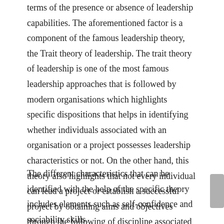terms of the presence or absence of leadership capabilities. The aforementioned factor is a component of the famous leadership theory, the Trait theory of leadership. The trait theory of leadership is one of the most famous leadership approaches that is followed by modern organisations which highlights specific dispositions that helps in identifying whether individuals associated with an organisation or a project possesses leadership characteristics or not. On the other hand, this theory also highlights that not every individual can lead a project or establish a successful project by obtaining aims and objectives through the following of discipline associated with the project management process. Apart from leadership capability this theory also helps in understanding multiple personal and demographic characteristics of individuals.
The different characteristics that can be identified with the help of the specific theory includes elements such as self-confidence and sociability skills.